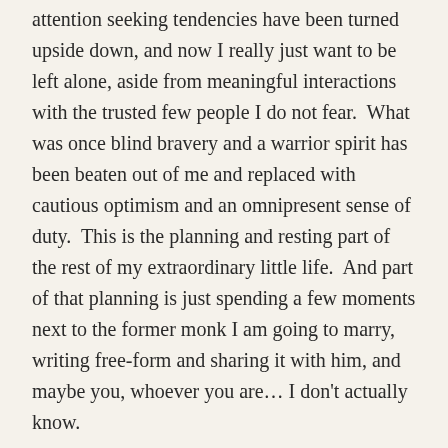attention seeking tendencies have been turned upside down, and now I really just want to be left alone, aside from meaningful interactions with the trusted few people I do not fear.  What was once blind bravery and a warrior spirit has been beaten out of me and replaced with cautious optimism and an omnipresent sense of duty.  This is the planning and resting part of the rest of my extraordinary little life.  And part of that planning is just spending a few moments next to the former monk I am going to marry, writing free-form and sharing it with him, and maybe you, whoever you are… I don't actually know.
I know that our plans to pursue a simpler life focusing on soil and spending more time listening and less time frenetically interrupting everyone feels like it fits.  40 odd years of frenzied grasping for a feeling of belonging